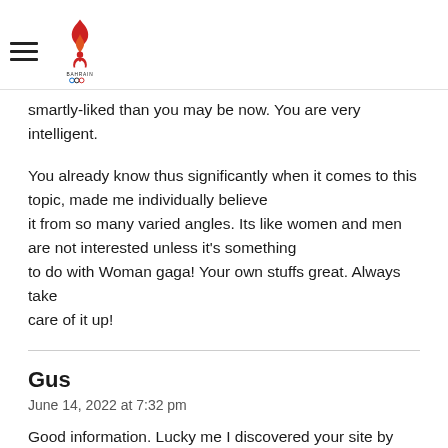Bahrain Olympic Committee logo with hamburger menu
smartly-liked than you may be now. You are very intelligent.
You already know thus significantly when it comes to this topic, made me individually believe it from so many varied angles. Its like women and men are not interested unless it's something to do with Woman gaga! Your own stuffs great. Always take care of it up!
Gus
June 14, 2022 at 7:32 pm
Good information. Lucky me I discovered your site by